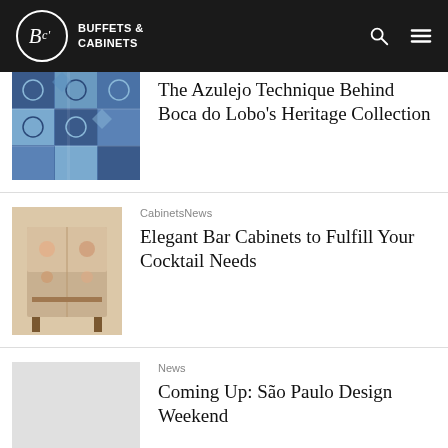BUFFETS & CABINETS
The Azulejo Technique Behind Boca do Lobo's Heritage Collection
Cabinets  News — Elegant Bar Cabinets to Fulfill Your Cocktail Needs
News — Coming Up: São Paulo Design Weekend
News